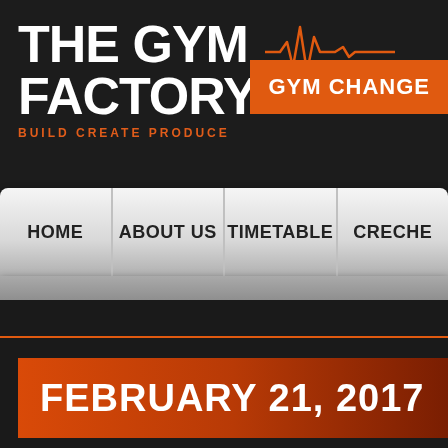[Figure (logo): The Gym Factory logo with heartbeat/pulse line graphic. White bold text 'THE GYM FACTORY' with orange tagline 'BUILD CREATE PRODUCE']
GYM CHANGE
HOME
ABOUT US
TIMETABLE
CRECHE
FEBRUARY 21, 2017